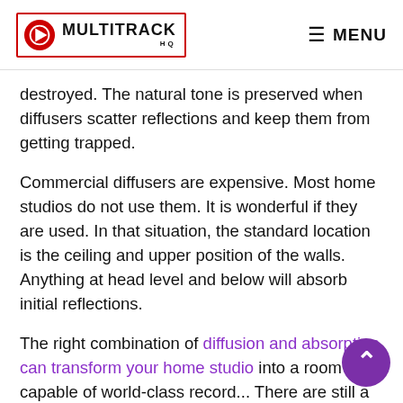MULTITRACK HQ | MENU
destroyed. The natural tone is preserved when diffusers scatter reflections and keep them from getting trapped.
Commercial diffusers are expensive. Most home studios do not use them. It is wonderful if they are used. In that situation, the standard location is the ceiling and upper position of the walls. Anything at head level and below will absorb initial reflections.
The right combination of diffusion and absorption can transform your home studio into a room capable of world-class record... There are still a few things beginners need to understand to apply the principles.